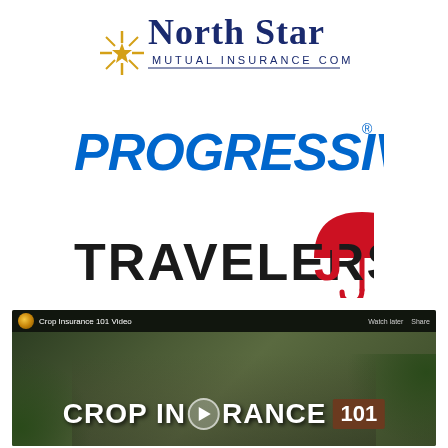[Figure (logo): North Star Mutual Insurance Company logo with gold star burst icon and blue text]
[Figure (logo): Progressive insurance logo in blue italic bold text with registered trademark symbol]
[Figure (logo): Travelers insurance logo with black text and red umbrella icon]
[Figure (screenshot): YouTube video thumbnail for Crop Insurance 101 Video showing two people outdoors with leaves, white bold text reading CROP INSURANCE 101 with play button]